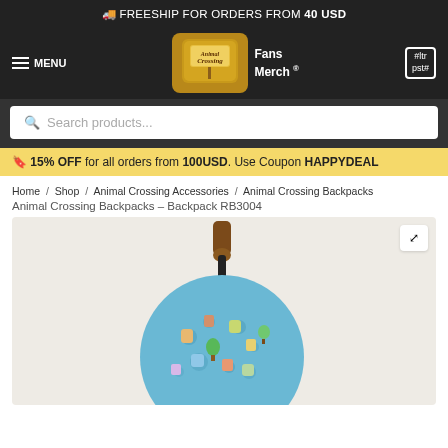🚚 FREESHIP FOR ORDERS FROM 40 USD
[Figure (logo): Animal Crossing Fans Merch logo with illustrated sign graphic]
≡ MENU
#ltr pst# (cart icon)
Search products...
🔖 15% OFF for all orders from 100USD. Use Coupon HAPPYDEAL
Home / Shop / Animal Crossing Accessories / Animal Crossing Backpacks / Animal Crossing Backpacks – Backpack RB3004
[Figure (photo): Round light-blue Animal Crossing themed backpack hanging on a wooden hook, showing pixel-art characters and items all over the surface]